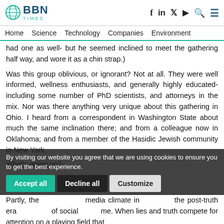BBN Times — Home, Science, Technology, Companies, Environment
had one as well- but he seemed inclined to meet the gathering half way, and wore it as a chin strap.)
Was this group oblivious, or ignorant? Not at all. They were well informed, wellness enthusiasts, and generally highly educated- including some number of PhD scientists, and attorneys in the mix. Nor was there anything very unique about this gathering in Ohio. I heard from a correspondent in Washington State about much the same inclination there; and from a colleague now in Oklahoma; and from a member of the Hasidic Jewish community in New York.
What's going on?
Partly, the media climate in the post-truth era of social media. When lies and truth compete for attention on a playing field that
By visiting our website you agree that we are using cookies to ensure you to get the best experience.